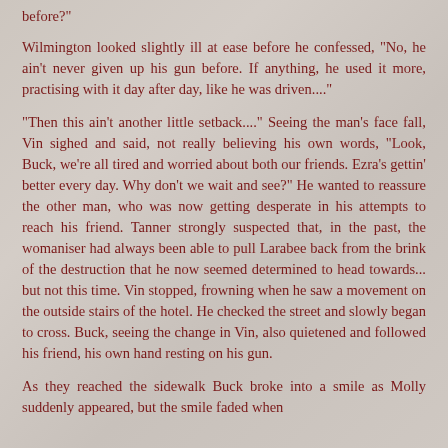before?"
Wilmington looked slightly ill at ease before he confessed, "No, he ain't never given up his gun before. If anything, he used it more, practising with it day after day, like he was driven...."
"Then this ain't another little setback...." Seeing the man's face fall, Vin sighed and said, not really believing his own words, "Look, Buck, we're all tired and worried about both our friends. Ezra's gettin' better every day. Why don't we wait and see?" He wanted to reassure the other man, who was now getting desperate in his attempts to reach his friend. Tanner strongly suspected that, in the past, the womaniser had always been able to pull Larabee back from the brink of the destruction that he now seemed determined to head towards... but not this time. Vin stopped, frowning when he saw a movement on the outside stairs of the hotel. He checked the street and slowly began to cross. Buck, seeing the change in Vin, also quietened and followed his friend, his own hand resting on his gun.
As they reached the sidewalk Buck broke into a smile as Molly suddenly appeared, but the smile faded when